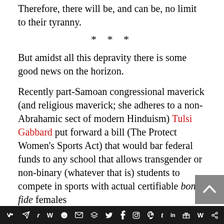Therefore, there will be, and can be, no limit to their tyranny.
* * *
But amidst all this depravity there is some good news on the horizon.
Recently part-Samoan congressional maverick (and religious maverick; she adheres to a non-Abrahamic sect of modern Hinduism) Tulsi Gabbard put forward a bill (The Protect Women’s Sports Act) that would bar federal funds to any school that allows transgender or non-binary (whatever that is) students to compete in sports with actual certifiable bona fide females
[Figure (other): Social media share bar at bottom with icons for VK, Telegram, Reddit, WordPress, WhatsApp, Email, Layers, Twitter, Facebook, Instagram, Pinterest, Tumblr, LinkedIn, Gift, Wattpad, Share]